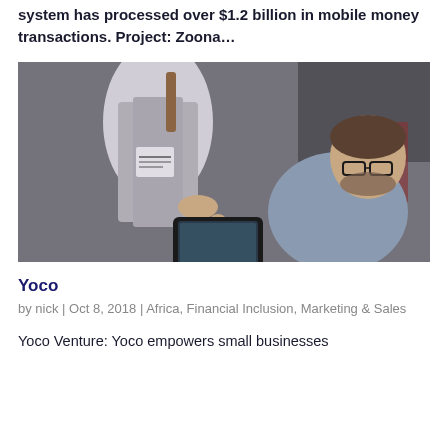system has processed over $1.2 billion in mobile money transactions. Project: Zoona…
[Figure (photo): Two men at a counter, one standing wearing an apron pointing at a tablet/phone device, the other seated wearing glasses looking at the screen in a restaurant or cafe setting.]
Yoco
by nick | Oct 8, 2018 | Africa, Financial Inclusion, Marketing & Sales
Yoco Venture: Yoco empowers small businesses